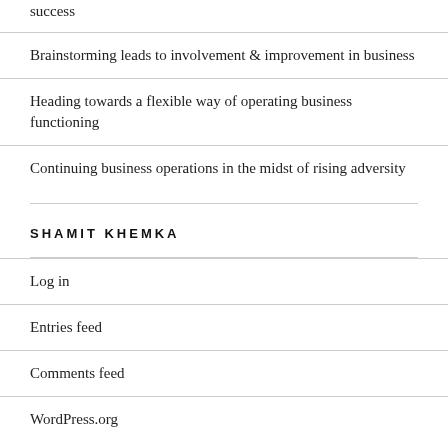success
Brainstorming leads to involvement & improvement in business
Heading towards a flexible way of operating business functioning
Continuing business operations in the midst of rising adversity
SHAMIT KHEMKA
Log in
Entries feed
Comments feed
WordPress.org